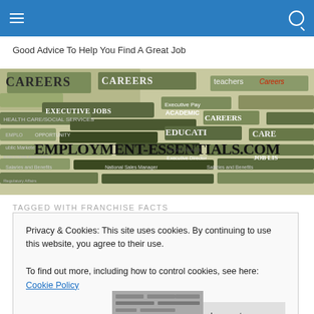Navigation bar with hamburger menu and search icon
Good Advice To Help You Find A Great Job
[Figure (photo): Employment-Essentials.com banner image showing a collage of newspaper job listings, career sections with words like CAREERS, EXECUTIVE JOBS, HEALTH CARE/SOCIAL SERVICES, ACADEMIC, EDUCATION, JOB LIST, Executive Director, National Sales Manager, Salaries and Benefits. Large text overlay reads EMPLOYMENT-ESSENTIALS.COM]
TAGGED WITH FRANCHISE FACTS
Privacy & Cookies: This site uses cookies. By continuing to use this website, you agree to their use.
To find out more, including how to control cookies, see here: Cookie Policy
[Figure (photo): Partial image at bottom of page, appears to show some printed material]